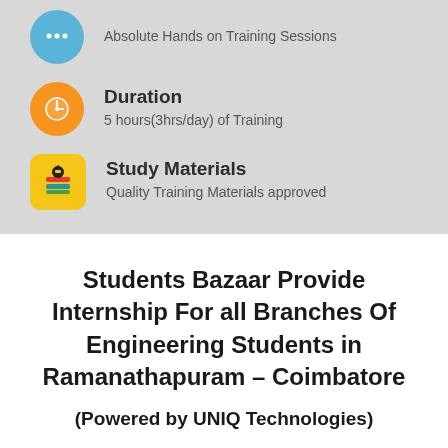Absolute Hands on Training Sessions
Duration
5 hours(3hrs/day) of Training
Study Materials
Quality Training Materials approved
Students Bazaar Provide Internship For all Branches Of Engineering Students in Ramanathapuram – Coimbatore
(Powered by UNIQ Technologies)